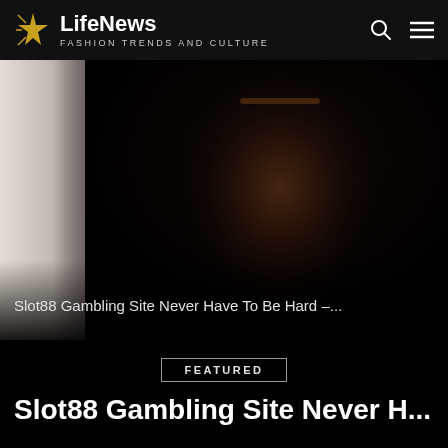LifeNews — Fashion Trends and Culture
[Figure (photo): Dark portrait of a person looking to the side, with white fabric visible on the left edge. The image is very dark with dramatic lighting emphasizing the subject's face.]
Slot88 Gambling Site Never Have To Be Hard –...
FEATURED
Slot88 Gambling Site Never H...